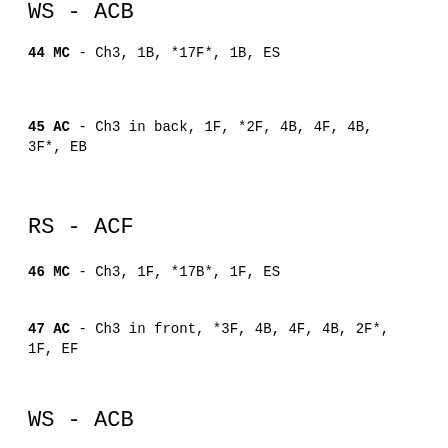WS - ACB
44 MC - Ch3, 1B, *17F*, 1B, ES
45 AC - Ch3 in back, 1F, *2F, 4B, 4F, 4B, 3F*, EB
RS - ACF
46 MC - Ch3, 1F, *17B*, 1F, ES
47 AC - Ch3 in front, *3F, 4B, 4F, 4B, 2F*, 1F, EF
WS - ACB